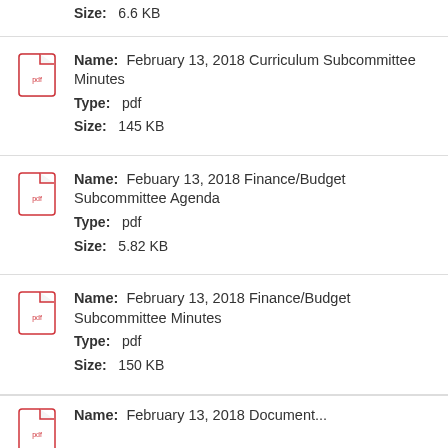Size: 6.6 KB
Name: February 13, 2018 Curriculum Subcommittee Minutes
Type: pdf
Size: 145 KB
Name: Febuary 13, 2018 Finance/Budget Subcommittee Agenda
Type: pdf
Size: 5.82 KB
Name: February 13, 2018 Finance/Budget Subcommittee Minutes
Type: pdf
Size: 150 KB
Name: February 13, 2018 Document...